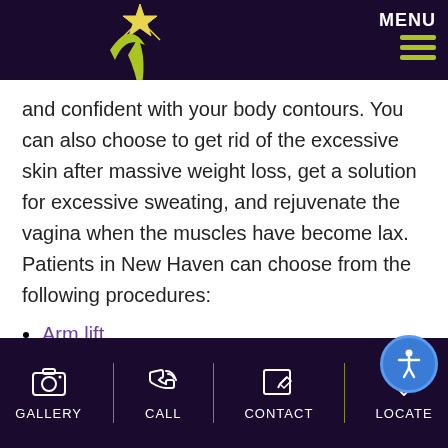[Figure (logo): Aspire medical/cosmetic practice logo with star and crescent moon graphic in yellow-green on dark purple header bar, with hamburger menu and MENU text]
and confident with your body contours. You can also choose to get rid of the excessive skin after massive weight loss, get a solution for excessive sweating, and rejuvenate the vagina when the muscles have become lax. Patients in New Haven can choose from the following procedures:
Arm lift
Body contouring after major weight loss
GALLERY  CALL  CONTACT  LOCATE